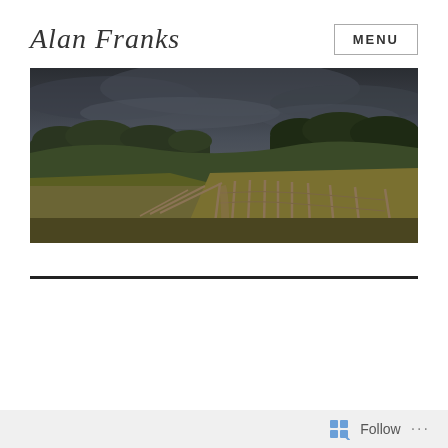Alan Franks
MENU
[Figure (photo): Panoramic landscape photograph showing rolling countryside with fields, wooden fence posts, trees on horizon, and a dramatic overcast sky.]
Tag: To Autumn
Follow ...